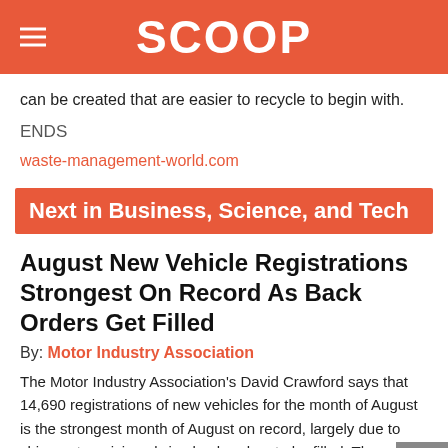SCOOP
can be created that are easier to recycle to begin with.
ENDS
waste-management-world.com
Next in Business, Science, and Tech
August New Vehicle Registrations Strongest On Record As Back Orders Get Filled
By: Motor Industry Association
The Motor Industry Association's David Crawford says that 14,690 registrations of new vehicles for the month of August is the strongest month of August on record, largely due to shipments arriving allowing back orders to be filled. The month tally ...